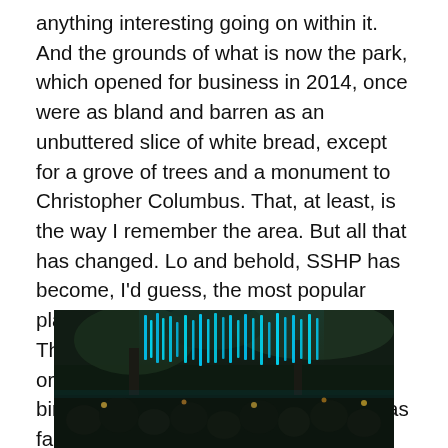anything interesting going on within it. And the grounds of what is now the park, which opened for business in 2014, once were as bland and barren as an unbuttered slice of white bread, except for a grove of trees and a monument to Christopher Columbus. That, at least, is the way I remember the area. But all that has changed. Lo and behold, SSHP has become, I'd guess, the most popular place to hang out in all of Philadelphia. The governmental folks who orchestrated the park's development birthed a phenomenon, a winner that has far exceeded in popularity anyone's expectations.
[Figure (photo): Nighttime photo of a park or outdoor space with crowds of people and blue light installations hanging from trees, creating a glowing teal/cyan effect against the dark night sky.]